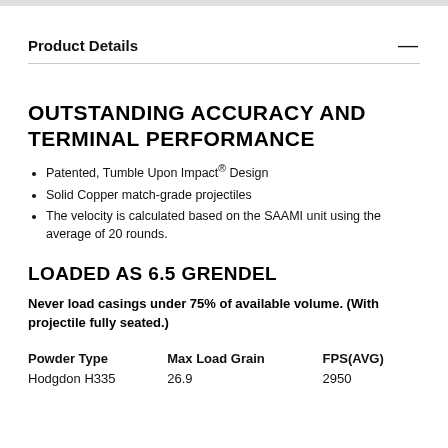Product Details
OUTSTANDING ACCURACY AND TERMINAL PERFORMANCE
Patented, Tumble Upon Impact® Design
Solid Copper match-grade projectiles
The velocity is calculated based on the SAAMI unit using the average of 20 rounds.
LOADED AS 6.5 GRENDEL
Never load casings under 75% of available volume. (With projectile fully seated.)
| Powder Type | Max Load Grain | FPS(AVG) |
| --- | --- | --- |
| Hodgdon H335 | 26.9 | 2950 |